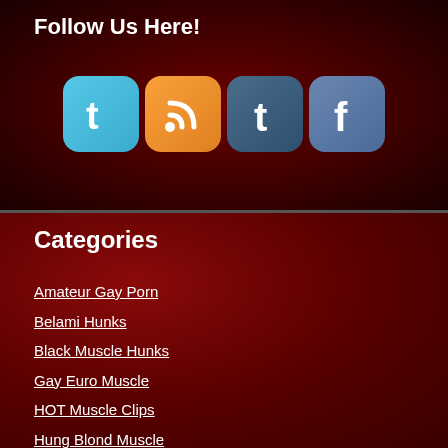Follow Us Here!
[Figure (infographic): Four social media icons in rounded square buttons: Twitter (blue, bird letter t), RSS (orange, wifi/rss symbol), Tumblr (dark blue-grey, letter t), Facebook (blue-grey, letter f)]
Categories
Amateur Gay Porn
Belami Hunks
Black Muscle Hunks
Gay Euro Muscle
HOT Muscle Clips
Hung Blond Muscle
Latin Muscle Studs
Mediterranean Men
Naked Jocks
Porn Star Muscle
Sexy Surprise
XX Hung Muscle